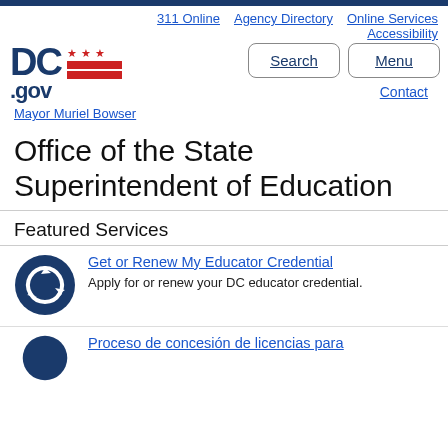311 Online | Agency Directory | Online Services | Accessibility
[Figure (logo): DC.gov logo with stars and red flag stripes]
Search | Menu | Contact
Mayor Muriel Bowser
Office of the State Superintendent of Education
Featured Services
[Figure (illustration): Dark blue circular icon with recycling/renewal arrows]
Get or Renew My Educator Credential
Apply for or renew your DC educator credential.
[Figure (illustration): Dark blue circular icon for second service]
Proceso de concesión de licencias para